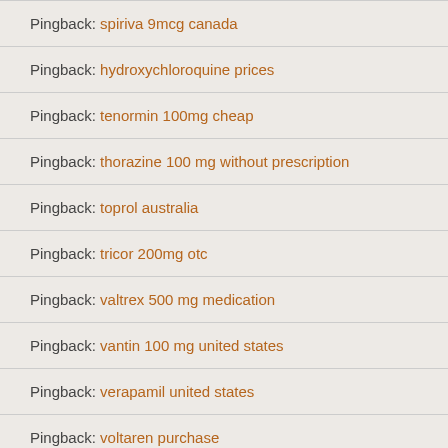Pingback: spiriva 9mcg canada
Pingback: hydroxychloroquine prices
Pingback: tenormin 100mg cheap
Pingback: thorazine 100 mg without prescription
Pingback: toprol australia
Pingback: tricor 200mg otc
Pingback: valtrex 500 mg medication
Pingback: vantin 100 mg united states
Pingback: verapamil united states
Pingback: voltaren purchase
Pingback: wellbutrin 150 mg cheap